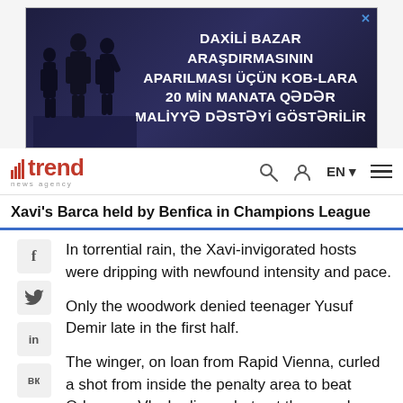[Figure (other): Advertisement banner for Azerbaijani business financial support program. Dark blue background with silhouettes of business people. Text reads: DAXİLİ BAZAR ARAŞDIRMASININ APARILMASI ÜÇÜN KOB-LARA 20 MİN MANATA QƏDƏR MALİYYƏ DƏSTƏYİ GÖSTƏRİLİR]
trend news agency — EN navigation bar with search, user, and menu icons
Xavi's Barca held by Benfica in Champions League
In torrential rain, the Xavi-invigorated hosts were dripping with newfound intensity and pace.
Only the woodwork denied teenager Yusuf Demir late in the first half.
The winger, on loan from Rapid Vienna, curled a shot from inside the penalty area to beat Odysseas Vlachodimos, but not the crossbar.